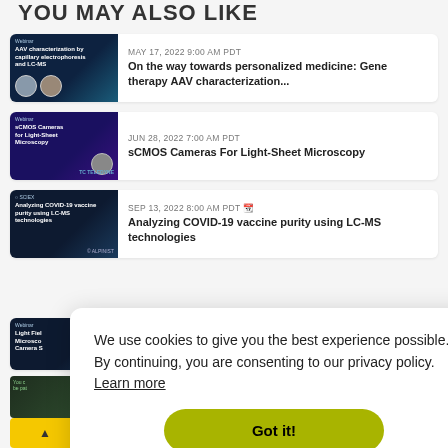YOU MAY ALSO LIKE
[Figure (screenshot): Thumbnail for AAV characterization webinar with dark teal microscopy background and two speaker portraits]
MAY 17, 2022 9:00 AM PDT
On the way towards personalized medicine: Gene therapy AAV characterization...
[Figure (screenshot): Thumbnail for sCMOS Cameras for Light-Sheet Microscopy webinar with dark purple/blue background and speaker portrait]
JUN 28, 2022 7:00 AM PDT
sCMOS Cameras For Light-Sheet Microscopy
[Figure (screenshot): Thumbnail for Analyzing COVID-19 vaccine purity using LC-MS technologies webinar with dark navy background]
SEP 13, 2022 8:00 AM PDT
Analyzing COVID-19 vaccine purity using LC-MS technologies
[Figure (screenshot): Partial thumbnail for Light Field Microscopy Camera webinar]
AUG 24, 2022 7:00 AM PDT
We use cookies to give you the best experience possible. By continuing, you are consenting to our privacy policy. Learn more
Got it!
sequencing